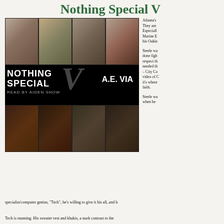Nothing Special V
[Figure (photo): Book cover for 'Nothing Special V' by A.E. Via, read by Aiden Snow. Shows a grid of six male model photos in black and white/sepia tones, with the title text and a large stylized V in the center band.]
Atlanta's They are Especiall Marine E his Oakla
Steele wa done figh respect th needed th – City Co video of C it's where faith.
Steele wa when he specialist/computer genius, "Tech", he's willing to give it his all, and h
Tech is stunning. His sweater vest and khakis, a stark contrast to the